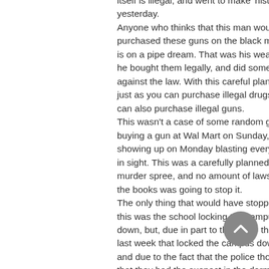itself is illegal, and went to make 'history' yesterday. Anyone who thinks that this man would not purchased these guns on the black market is on a pipe dream. That was his weapon, he bought them legally, and did something against the law. With this careful planning, just as you can purchase illegal drugs, you can also purchase illegal guns. This wasn't a case of some random guy buying a gun at Wal Mart on Sunday, and showing up on Monday blasting everyone in sight. This was a carefully planned murder spree, and no amount of laws on the books was going to stop it. The only thing that would have stopped this was the school locking the campus down, but, due in part to the bomb threats last week that locked the campus down, and due to the fact that the police thought that they had the suspect in the dorm shootings, they did not lock down the campus.